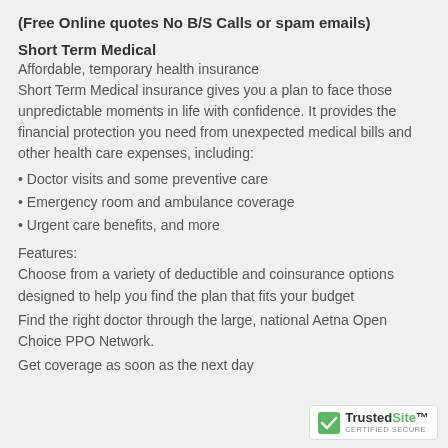(Free Online quotes No B/S Calls or spam emails)
Short Term Medical
Affordable, temporary health insurance
Short Term Medical insurance gives you a plan to face those unpredictable moments in life with confidence. It provides the financial protection you need from unexpected medical bills and other health care expenses, including:
• Doctor visits and some preventive care
• Emergency room and ambulance coverage
• Urgent care benefits, and more
Features:
Choose from a variety of deductible and coinsurance options designed to help you find the plan that fits your budget
Find the right doctor through the large, national Aetna Open Choice PPO Network.
Get coverage as soon as the next day
[Figure (logo): TrustedSite Certified Secure badge with green checkmark]